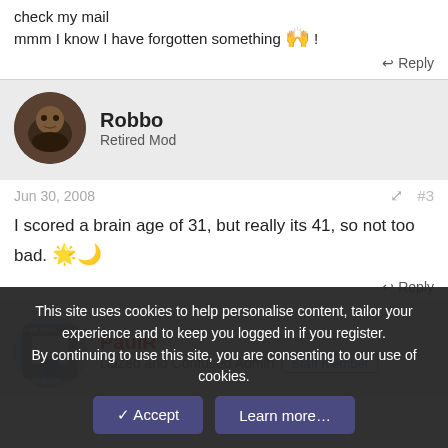check my mail
mmm I know I have forgotten something !
↩ Reply
Robbo
Retired Mod
Jun 30, 2008  #3
I scored a brain age of 31, but really its 41, so not too bad.
↩ Reply
PaulR
Dazed and Confused Admin  Staff member
This site uses cookies to help personalise content, tailor your experience and to keep you logged in if you register.
By continuing to use this site, you are consenting to our use of cookies.
Accept  Learn more...